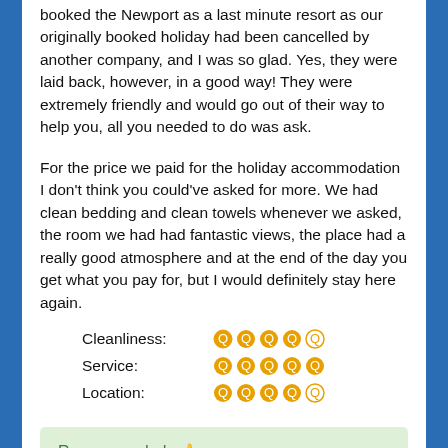booked the Newport as a last minute resort as our originally booked holiday had been cancelled by another company, and I was so glad. Yes, they were laid back, however, in a good way! They were extremely friendly and would go out of their way to help you, all you needed to do was ask.
For the price we paid for the holiday accommodation I don't think you could've asked for more. We had clean bedding and clean towels whenever we asked, the room we had had fantastic views, the place had a really good atmosphere and at the end of the day you get what you pay for, but I would definitely stay here again.
Cleanliness: 4/5 stars
Service: 5/5 stars
Location: 4/5 stars
Recommended 👍
This review is the subjective opinion of a Holiday Truths member and not